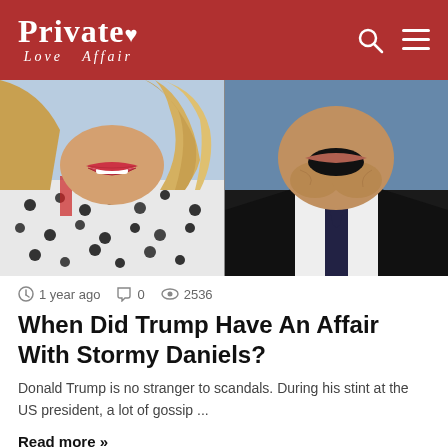Private Love Affair
[Figure (photo): Split photo: left side shows a woman (Stormy Daniels) close-up from mouth/chin down wearing a white patterned outfit with blonde hair; right side shows an older man (Donald Trump) from mouth/chin down wearing a dark suit and tie, mouth open]
1 year ago   0   2536
When Did Trump Have An Affair With Stormy Daniels?
Donald Trump is no stranger to scandals. During his stint at the US president, a lot of gossip ...
Read more »